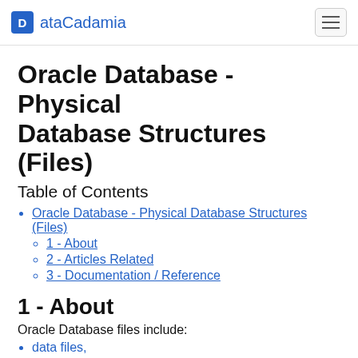ataCadamia
Oracle Database - Physical Database Structures (Files)
Table of Contents
Oracle Database - Physical Database Structures (Files)
1 - About
2 - Articles Related
3 - Documentation / Reference
1 - About
Oracle Database files include:
data files,